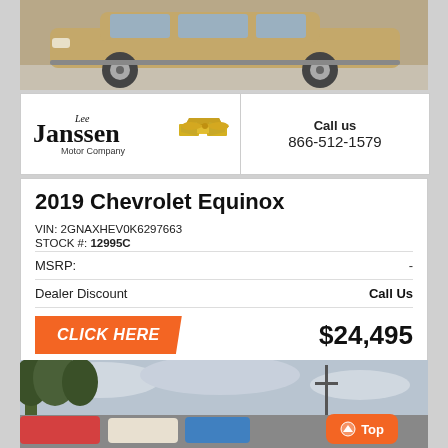[Figure (photo): Side view of a tan/gold 2019 Chevrolet Equinox SUV in a dealership lot]
[Figure (logo): Lee Janssen Motor Company logo with Chevrolet bowtie emblem]
Call us
866-512-1579
2019 Chevrolet Equinox
VIN: 2GNAXHEV0K6297663
STOCK #: 12995C
|  |  |
| --- | --- |
| MSRP: | - |
| Dealer Discount | Call Us |
|  | $24,495 |
[Figure (photo): Parking lot of car dealership with trees and overcast sky, with a 'Top' navigation button in lower right]
Top